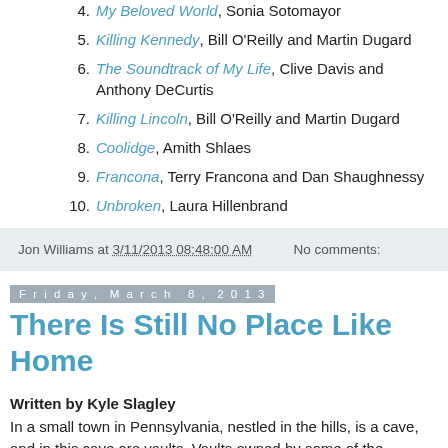4. My Beloved World, Sonia Sotomayor
5. Killing Kennedy, Bill O'Reilly and Martin Dugard
6. The Soundtrack of My Life, Clive Davis and Anthony DeCurtis
7. Killing Lincoln, Bill O'Reilly and Martin Dugard
8. Coolidge, Amith Shlaes
9. Francona, Terry Francona and Dan Shaughnessy
10. Unbroken, Laura Hillenbrand
Jon Williams at 3/11/2013 08:48:00 AM   No comments:
Friday, March 8, 2013
There Is Still No Place Like Home
Written by Kyle Slagley
In a small town in Pennsylvania, nestled in the hills, is a cave, and in this cave are vaults. Vaults owned by some of the biggest organizations and companies in Western society. The security is extremely tight, the technology in this cave